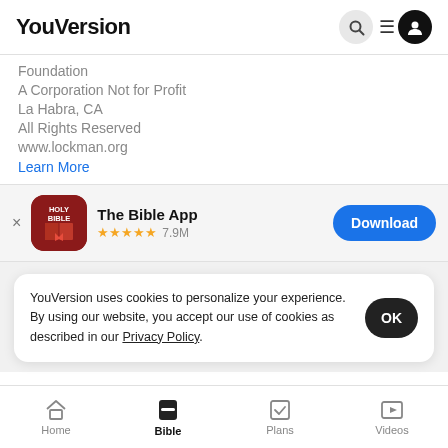YouVersion
Foundation
A Corporation Not for Profit
La Habra, CA
All Rights Reserved
www.lockman.org
Learn More
[Figure (screenshot): The Bible App banner with Holy Bible icon, 4.5 star rating, 7.9M reviews, and a Download button]
YouVersion uses cookies to personalize your experience. By using our website, you accept our use of cookies as described in our Privacy Policy.
Home | Bible | Plans | Videos